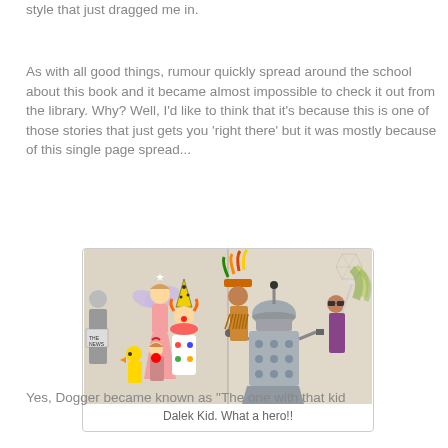style that just dragged me in.
As with all good things, rumour quickly spread around the school about this book and it became almost impossible to check it out from the library. Why? Well, I'd like to think that it's because this is one of those stories that just gets you 'right there' but it was mostly because of this single page spread...
[Figure (photo): A two-page book spread illustration showing children in fancy dress costumes. Left page: children dressed as a fairy, a duck, a clown. Right page: children with a Dalek robot costume, a Native American costume, and other costumes.]
Dalek Kid. What a hero!!
Yes, Dogger became known as "The one with that kid